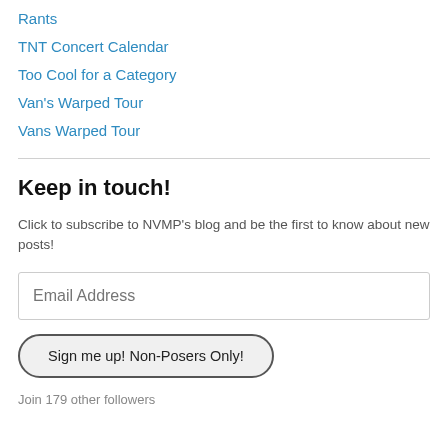Rants
TNT Concert Calendar
Too Cool for a Category
Van's Warped Tour
Vans Warped Tour
Keep in touch!
Click to subscribe to NVMP's blog and be the first to know about new posts!
Email Address
Sign me up! Non-Posers Only!
Join 179 other followers